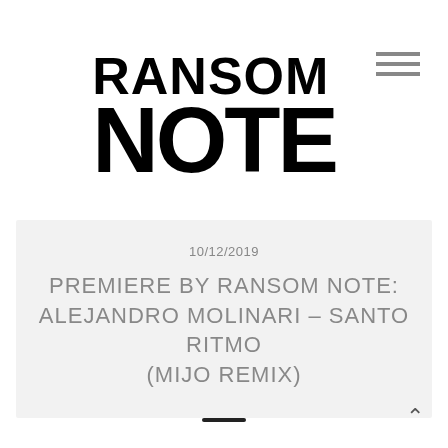[Figure (logo): RANSOM NOTE logo in large bold black uppercase letters with hamburger menu icon on the right]
10/12/2019
PREMIERE BY RANSOM NOTE: ALEJANDRO MOLINARI – SANTO RITMO (MIJO REMIX)